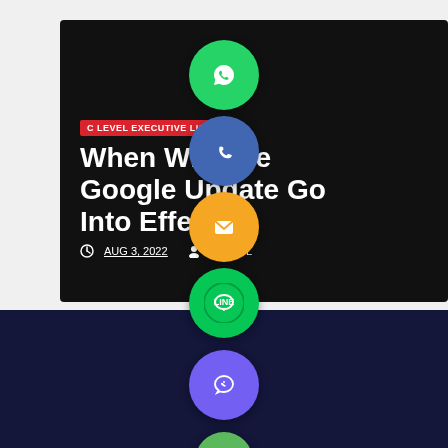[Figure (screenshot): Blog post card on dark background showing 'C LEVEL EXECUTIVE LIST' badge and title 'When Will The Google Update Go Into Effect?' with date AUG 3, 2022 and author MAKTUL. Overlaid are social sharing buttons: WhatsApp (green), Phone/Call (dark blue), Email (orange), LINE (green), Viber (purple), and a close/X button (light green).]
C LEVEL EXECUTIVE LIST
When Will The Google Update Go Into Effect?
AUG 3, 2022
MAKTUL